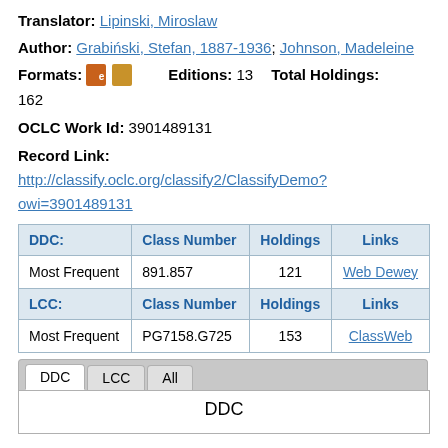Translator: Lipinski, Miroslaw
Author: Grabiński, Stefan, 1887-1936; Johnson, Madeleine
Formats: [icons] Editions: 13 Total Holdings: 162
OCLC Work Id: 3901489131
Record Link:
http://classify.oclc.org/classify2/ClassifyDemo?owi=3901489131
| DDC: | Class Number | Holdings | Links |
| --- | --- | --- | --- |
| Most Frequent | 891.857 | 121 | Web Dewey |
| LCC: | Class Number | Holdings | Links |
| Most Frequent | PG7158.G725 | 153 | ClassWeb |
DDC  LCC  All
DDC